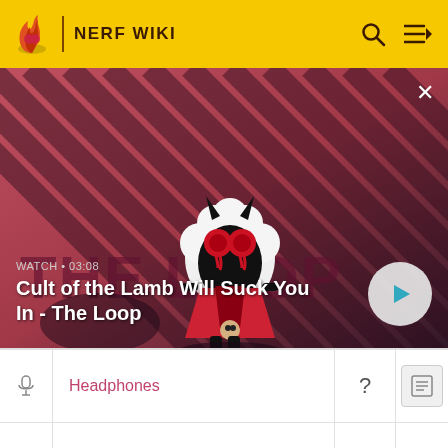NERF WIKI
[Figure (screenshot): Video thumbnail showing 'Cult of the Lamb Will Suck You In - The Loop' with WATCH • 03:08 label and a play button. Features a cartoon lamb character on a red diagonal-striped background.]
|  | Name | ? |  |
| --- | --- | --- | --- |
| icon | Headphones | ? | list-icon |
| icon | Bluetooth Round Speaker | ? |  |